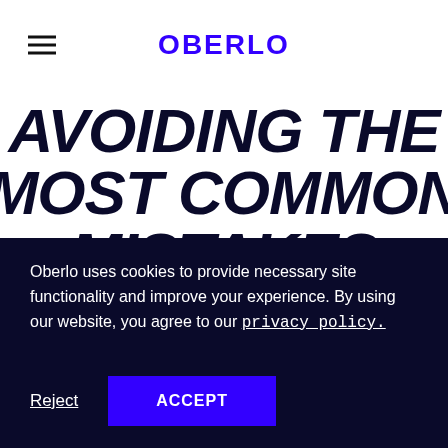OBERLO
AVOIDING THE MOST COMMON MISTAKES MADE BY NEW DROPSHIPPERS
Oberlo uses cookies to provide necessary site functionality and improve your experience. By using our website, you agree to our privacy policy.
Reject  ACCEPT